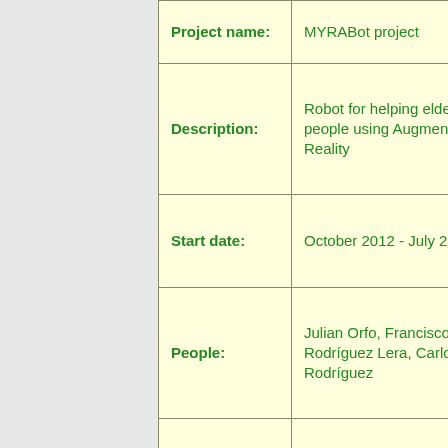| Field | Value |
| --- | --- |
| Project name: | MYRABot project |
| Description: | Robot for helping elderly people using Augmented Reality |
| Start date: | October 2012 - July 2013 |
| People: | Julian Orfo, Francisco J. Rodríguez Lera, Carlos Rodríguez |
| Repositories: |  |
| Tags: | ROS, Augmented Reality |
| Technologies: | ROS, Augmented ... |